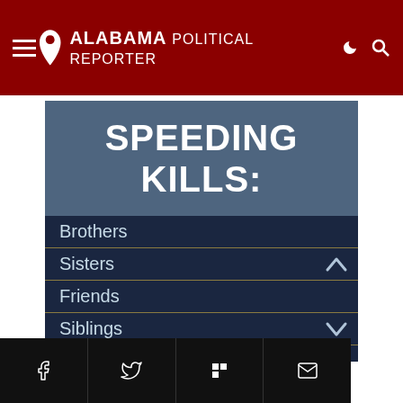Alabama Political Reporter
[Figure (infographic): Drive Safe Alabama public safety infographic. Dark blue background with large white text reading 'SPEEDING KILLS:' followed by a list: Brothers, Sisters, Friends, Siblings, Mothers. Bottom bar reads 'DRIVE SAFE ALABAMA'.]
Social share buttons: Facebook, Twitter, Flipboard, Email